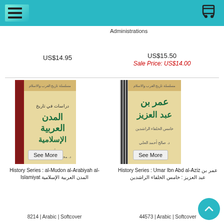Navigation header with hamburger menu and cart icon
Administrations
US$14.95
US$15.50
Sale Price: US$14.00
[Figure (photo): Book cover: al-Mudon al-Arabiyah al-Islamiyat with Arabic text and red/beige design with See More button]
History Series : al-Mudon al-Arabiyah al-Islamiyat المدن العربية الإسلامية
8214 | Arabic | Softcover
[Figure (photo): Book cover: Umar Ibn Abd al-Aziz with Arabic text and beige/striped design with See More button]
History Series : Umar Ibn Abd al-Aziz عمر بن عبد العزيز : خامس الخلفاء الراشدين
44573 | Arabic | Softcover